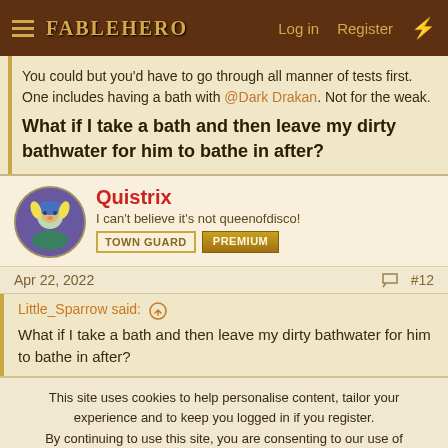FABLEHERO — Log in | Register
You could but you'd have to go through all manner of tests first. One includes having a bath with @Dark Drakan. Not for the weak.
What if I take a bath and then leave my dirty bathwater for him to bathe in after?
Quistrix
I can't believe it's not queenofdisco! TOWN GUARD PREMIUM
Apr 22, 2022 #12
Little_Sparrow said:
What if I take a bath and then leave my dirty bathwater for him to bathe in after?
This site uses cookies to help personalise content, tailor your experience and to keep you logged in if you register.
By continuing to use this site, you are consenting to our use of cookies.